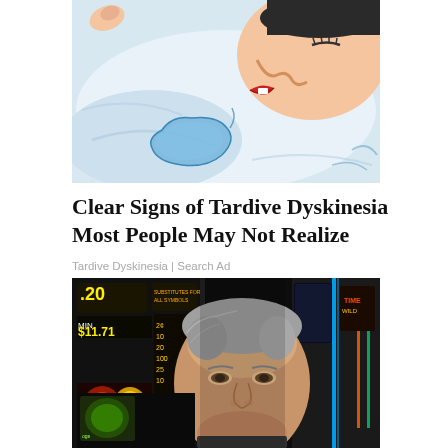[Figure (illustration): Cartoon/illustration of a woman sleeping and drooling on a pillow, with red lips and a blue drool stain on the white pillow case]
Clear Signs of Tardive Dyskinesia Most People May Not Realize
Tardive Dyskinesia | Search Ad
[Figure (photo): Photo of an older man with grey/white hair standing in front of slot machines in a casino, with colorful gaming machines visible in the background]